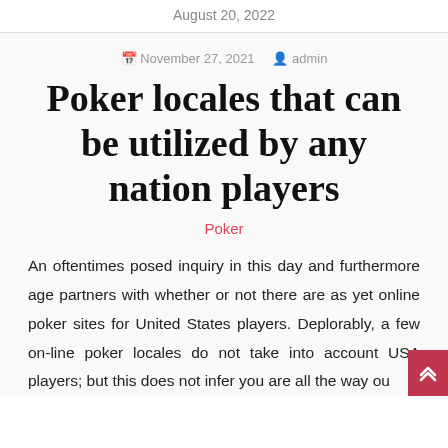August 20, 2022
November 27, 2021   admin
Poker locales that can be utilized by any nation players
Poker
An oftentimes posed inquiry in this day and furthermore age partners with whether or not there are as yet online poker sites for United States players. Deplorably, a few on-line poker locales do not take into account USA players; but this does not infer you are all the way out